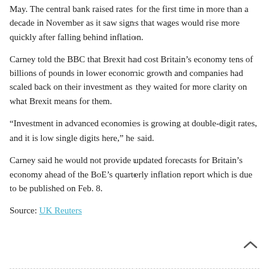May. The central bank raised rates for the first time in more than a decade in November as it saw signs that wages would rise more quickly after falling behind inflation.
Carney told the BBC that Brexit had cost Britain’s economy tens of billions of pounds in lower economic growth and companies had scaled back on their investment as they waited for more clarity on what Brexit means for them.
“Investment in advanced economies is growing at double-digit rates, and it is low single digits here,” he said.
Carney said he would not provide updated forecasts for Britain’s economy ahead of the BoE’s quarterly inflation report which is due to be published on Feb. 8.
Source: UK Reuters